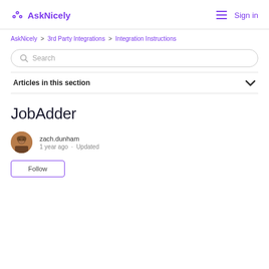AskNicely  Sign in
AskNicely > 3rd Party Integrations > Integration Instructions
Search
Articles in this section
JobAdder
zach.dunham
1 year ago · Updated
Follow